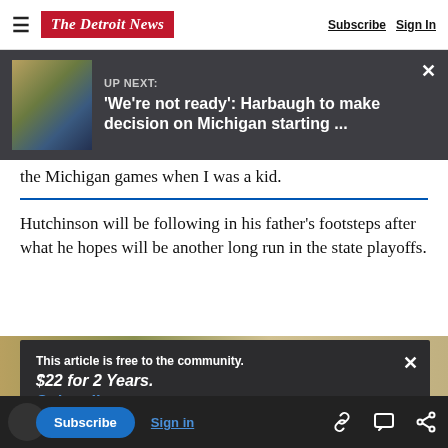The Detroit News | Subscribe | Sign In
[Figure (screenshot): UP NEXT overlay banner with Michigan football photo thumbnail showing players in yellow/blue uniforms. Headline: 'We're not ready': Harbaugh to make decision on Michigan starting ...]
the Michigan games when I was a kid.
Hutchinson will be following in his father's footsteps after what he hopes will be another long run in the state playoffs.
This article is free to the community.
$22 for 2 Years.
Subscribe now
Subscribe | Sign in